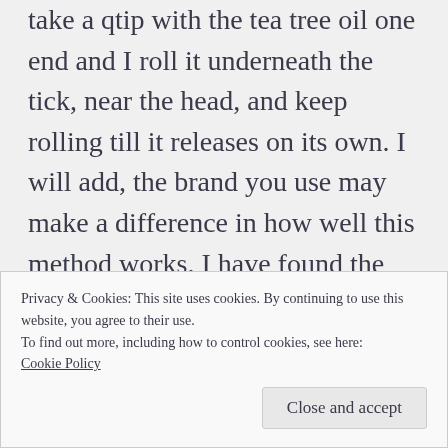take a qtip with the tea tree oil one end and I roll it underneath the tick, near the head, and keep rolling till it releases on its own. I will add, the brand you use may make a difference in how well this method works. I have found the tea tree oil I normally buy from Wal-Mart works great! The last bottle of tea tree oil I bought, I bought at CVS. It did not work as well as I would have liked and didn't even smell as strong as the bottle from Wal-Mart. After the tick is removed I dab a
Privacy & Cookies: This site uses cookies. By continuing to use this website, you agree to their use.
To find out more, including how to control cookies, see here: Cookie Policy
Close and accept